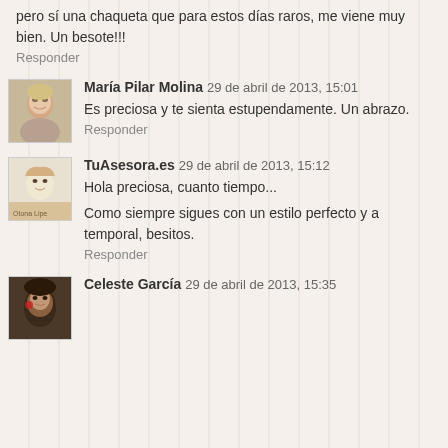pero sí una chaqueta que para estos días raros, me viene muy bien. Un besote!!!
Responder
María Pilar Molina 29 de abril de 2013, 15:01
Es preciosa y te sienta estupendamente. Un abrazo.
Responder
TuAsesora.es 29 de abril de 2013, 15:12
Hola preciosa, cuanto tiempo...
Como siempre sigues con un estilo perfecto y a temporal, besitos.
Responder
Celeste García 29 de abril de 2013, 15:35